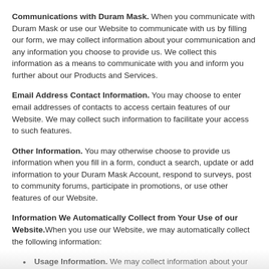Communications with Duram Mask. When you communicate with Duram Mask or use our Website to communicate with us by filling our form, we may collect information about your communication and any information you choose to provide us. We collect this information as a means to communicate with you and inform you further about our Products and Services.
Email Address Contact Information. You may choose to enter email addresses of contacts to access certain features of our Website. We may collect such information to facilitate your access to such features.
Other Information. You may otherwise choose to provide us information when you fill in a form, conduct a search, update or add information to your Duram Mask Account, respond to surveys, post to community forums, participate in promotions, or use other features of our Website.
Information We Automatically Collect from Your Use of our Website. When you use our Website, we may automatically collect the following information:
Usage Information. We may collect information about your interactions with our Website.
Log Data. We automatically collect log information when you use our Website. That information includes, without limitation: details